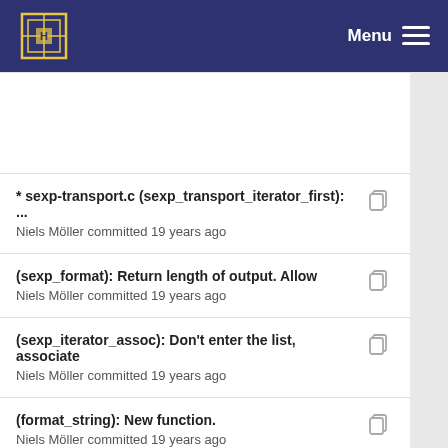Menu
* sexp-transport.c (sexp_transport_iterator_first): ...
Niels Möller committed 19 years ago
(sexp_format): Return length of output. Allow
Niels Möller committed 19 years ago
(sexp_iterator_assoc): Don't enter the list, associate
Niels Möller committed 19 years ago
(format_string): New function.
Niels Möller committed 19 years ago